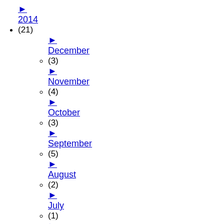► 2014 (21)
► December (3)
► November (4)
► October (3)
► September (5)
► August (2)
► July (1)
► April (1)